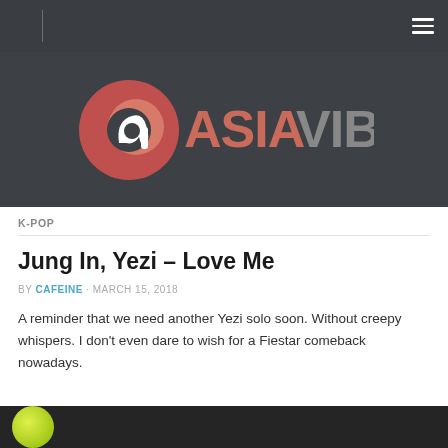[Figure (logo): AsiaVibes logo — circular red/salmon icon with white 'a' letter mark on left, text 'ASIA' in salmon/red bold and 'VIBES' in gray on dark background]
K-POP
Jung In, Yezi – Love Me
BY CAFEINE · MARCH 15, 2018
A reminder that we need another Yezi solo soon. Without creepy whispers. I don't even dare to wish for a Fiestar comeback nowadays.
[Figure (photo): Dark background thumbnail strip with yellow-green circular element visible at bottom]